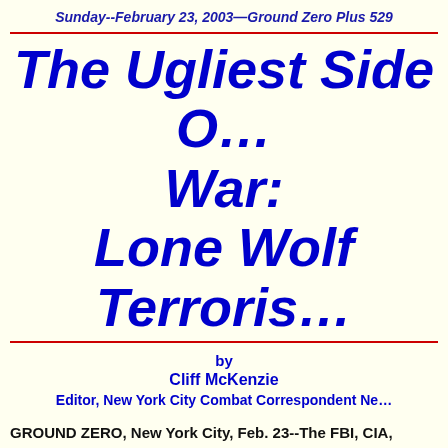Sunday--February 23, 2003—Ground Zero Plus 529
The Ugliest Side Of War: Lone Wolf Terrorism
by
Cliff McKenzie
Editor, New York City Combat Correspondent Ne…
GROUND ZERO, New York City, Feb. 23--The FBI, CIA, Homeland Security are more concerned with a rash of "lone wolf" Terrorist attacks than a concerted assault by al-Qae… should the U.S. invade Iraq.
    I tend to agree.  Nothing is more frightening than the… Wolf Terrorist."  He or she is the person who acts witho…